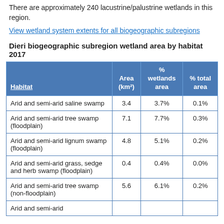There are approximately 240 lacustrine/palustrine wetlands in this region.
View wetland system extents for all biogeographic subregions
Dieri biogeographic subregion wetland area by habitat 2017
| Habitat | Area (km²) | % wetlands area | % total area |
| --- | --- | --- | --- |
| Arid and semi-arid saline swamp | 3.4 | 3.7% | 0.1% |
| Arid and semi-arid tree swamp (floodplain) | 7.1 | 7.7% | 0.3% |
| Arid and semi-arid lignum swamp (floodplain) | 4.8 | 5.1% | 0.2% |
| Arid and semi-arid grass, sedge and herb swamp (floodplain) | 0.4 | 0.4% | 0.0% |
| Arid and semi-arid tree swamp (non-floodplain) | 5.6 | 6.1% | 0.2% |
| Arid and semi-arid ... | ... | ...% | ...% |